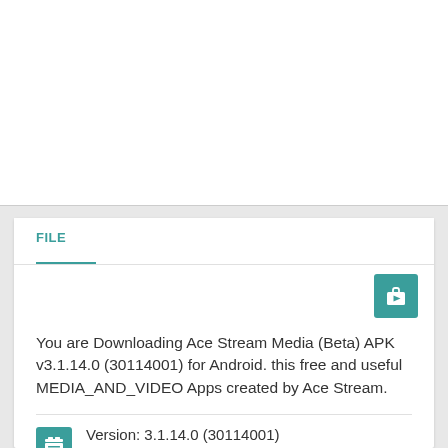[Figure (screenshot): White blank area representing advertisement or image placeholder at top of page]
FILE
[Figure (illustration): Teal play button icon (briefcase with play triangle) in upper right of card]
You are Downloading Ace Stream Media (Beta) APK v3.1.14.0 (30114001) for Android. this free and useful MEDIA_AND_VIDEO Apps created by Ace Stream.
Version: 3.1.14.0 (30114001)
14785 downloads